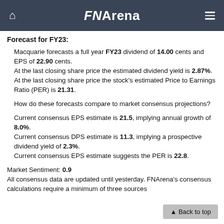FNArena
Forecast for FY23:
Macquarie forecasts a full year FY23 dividend of 14.00 cents and EPS of 22.90 cents.
At the last closing share price the estimated dividend yield is 2.87%.
At the last closing share price the stock's estimated Price to Earnings Ratio (PER) is 21.31.
How do these forecasts compare to market consensus projections?
Current consensus EPS estimate is 21.5, implying annual growth of 8.0%.
Current consensus DPS estimate is 11.3, implying a prospective dividend yield of 2.3%.
Current consensus EPS estimate suggests the PER is 22.8.
Market Sentiment: 0.9
All consensus data are updated until yesterday. FNArena's consensus calculations require a minimum of three sources